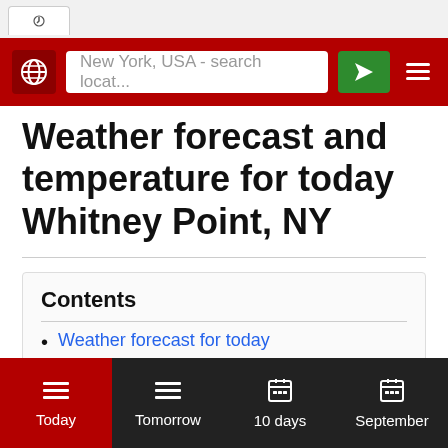New York, USA - search locat...
Weather forecast and temperature for today Whitney Point, NY
Contents
Weather forecast for today
Current condition
Frequently asked questions
Today | Tomorrow | 10 days | September